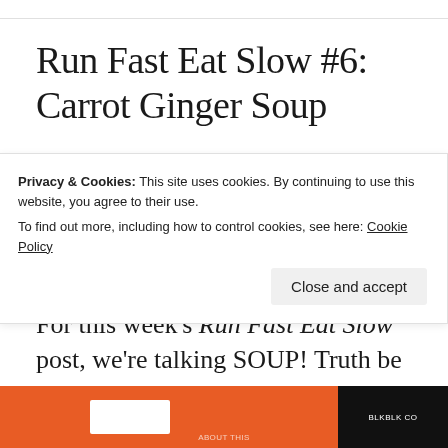Run Fast Eat Slow #6: Carrot Ginger Soup
LEAVE A COMMENT  MARCH 3, 2017
Happy Friday!
For this week’s Run Fast Eat Slow post, we’re talking SOUP! Truth be told, I
Privacy & Cookies: This site uses cookies. By continuing to use this website, you agree to their use.
To find out more, including how to control cookies, see here: Cookie Policy
[Figure (screenshot): Cookie banner overlay with close button (X circle) and Close and accept button. Below is an orange advertisement bar with a white button and black box.]